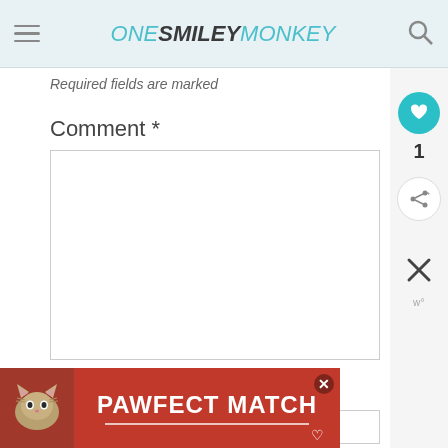ONE SMILEY MONKEY
Required fields are marked
Comment *
Name *
[Figure (screenshot): PAWFECT MATCH advertisement banner with cat photo on red background]